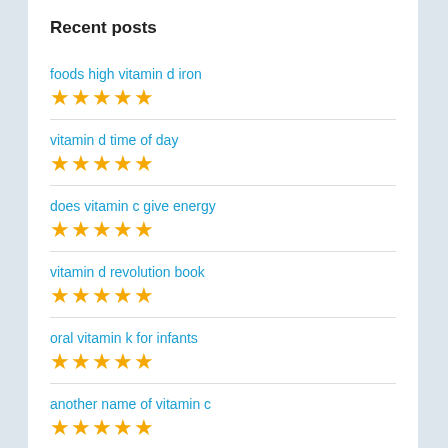Recent posts
foods high vitamin d iron
★★★★★
vitamin d time of day
★★★★★
does vitamin c give energy
★★★★★
vitamin d revolution book
★★★★★
oral vitamin k for infants
★★★★★
another name of vitamin c
★★★★★